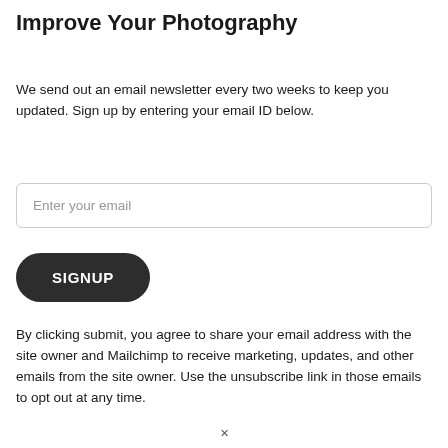Improve Your Photography
We send out an email newsletter every two weeks to keep you updated. Sign up by entering your email ID below.
[Figure (screenshot): Email input field with placeholder text 'Enter your email' and a dark rounded SIGNUP button below it]
By clicking submit, you agree to share your email address with the site owner and Mailchimp to receive marketing, updates, and other emails from the site owner. Use the unsubscribe link in those emails to opt out at any time.